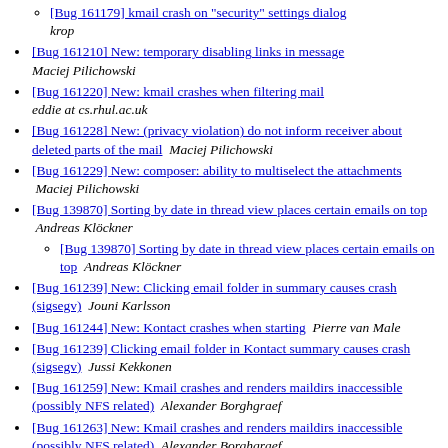[Bug 161179] kmail crash on "security" settings dialog  krop
[Bug 161210] New: temporary disabling links in message  Maciej Pilichowski
[Bug 161220] New: kmail crashes when filtering mail  eddie at cs.rhul.ac.uk
[Bug 161228] New: (privacy violation) do not inform receiver about deleted parts of the mail  Maciej Pilichowski
[Bug 161229] New: composer: ability to multiselect the attachments  Maciej Pilichowski
[Bug 139870] Sorting by date in thread view places certain emails on top  Andreas Klöckner
[Bug 139870] Sorting by date in thread view places certain emails on top  Andreas Klöckner
[Bug 161239] New: Clicking email folder in summary causes crash (sigsegv)  Jouni Karlsson
[Bug 161244] New: Kontact crashes when starting  Pierre van Male
[Bug 161239] Clicking email folder in Kontact summary causes crash (sigsegv)  Jussi Kekkonen
[Bug 161259] New: Kmail crashes and renders maildirs inaccessible (possibly NFS related)  Alexander Borghgraef
[Bug 161263] New: Kmail crashes and renders maildirs inaccessible (possibly NFS related)  Alexander Borghgraef
[Bug 161263] Kmail crashes and renders maildirs